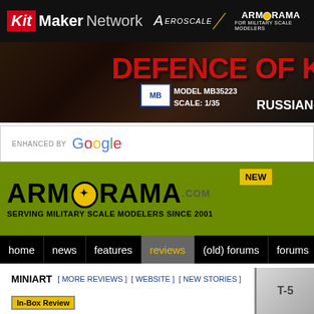Kit Maker Network | Aeroscale | Armorama
[Figure (screenshot): Banner advertisement: Defence of K - Model MB35223 Scale: 1/35 Russian- (military figures diorama)]
ENHANCED BY Google
[Figure (logo): Armorama.com logo - SERVING MILITARY SCALE MODELERS SINCE 2001 - on olive green background]
home | news | features | reviews | (old) forums | forums
MINIART [ MORE REVIEWS ] [ WEBSITE ] [ NEW STORIES ]
In-Box Review
T-54 with Interior (partial)